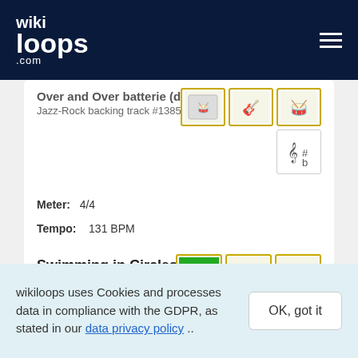wikiloops.com
Over and Over batterie (drums)
Jazz-Rock backing track #138500
Meter: 4/4
Tempo: 131 BPM
Musical key: B major
Sounds like: Pop, groove, ballad, Marceys, Groovinz
Swimming in Circles
Jazz-Rock backing track #200376
wikiloops uses Cookies and processes data in compliance with the GDPR, as stated in our data privacy policy ..